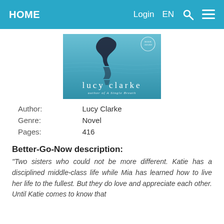HOME   Login  EN
[Figure (illustration): Book cover for a novel by Lucy Clarke — teal/blue water background with a dark silhouette reflection, text reading 'lucy clarke' and 'author of A Single Breath']
| Author: | Lucy Clarke |
| Genre: | Novel |
| Pages: | 416 |
Better-Go-Now description:
"Two sisters who could not be more different. Katie has a disciplined middle-class life while Mia has learned how to live her life to the fullest. But they do love and appreciate each other. Until Katie comes to know that